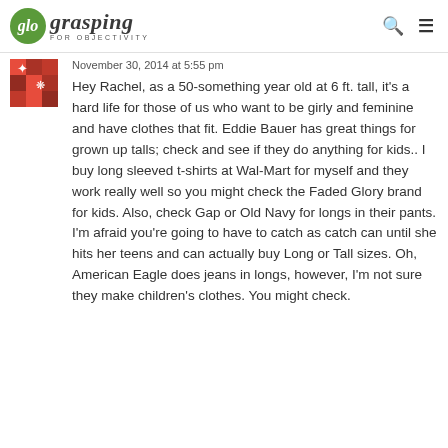glo grasping FOR OBJECTIVITY
November 30, 2014 at 5:55 pm
Hey Rachel, as a 50-something year old at 6 ft. tall, it's a hard life for those of us who want to be girly and feminine and have clothes that fit. Eddie Bauer has great things for grown up talls; check and see if they do anything for kids.. I buy long sleeved t-shirts at Wal-Mart for myself and they work really well so you might check the Faded Glory brand for kids. Also, check Gap or Old Navy for longs in their pants. I'm afraid you're going to have to catch as catch can until she hits her teens and can actually buy Long or Tall sizes. Oh, American Eagle does jeans in longs, however, I'm not sure they make children's clothes. You might check.